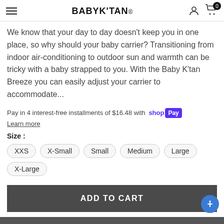BABY K'TAN.
We know that your day to day doesn't keep you in one place, so why should your baby carrier? Transitioning from indoor air-conditioning to outdoor sun and warmth can be tricky with a baby strapped to you. With the Baby K'tan Breeze you can easily adjust your carrier to accommodate...
Pay in 4 interest-free installments of $16.48 with Shop Pay
Learn more
Size :
XXS
X-Small
Small
Medium
Large
X-Large
ADD TO CART